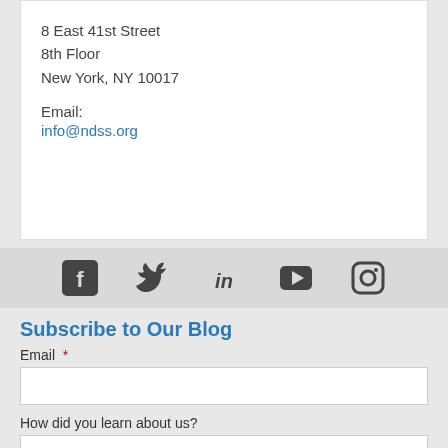8 East 41st Street
8th Floor
New York, NY 10017
Email:
info@ndss.org
[Figure (infographic): Social media icons: Facebook, Twitter, LinkedIn, YouTube, Instagram]
Subscribe to Our Blog
Email *
How did you learn about us?